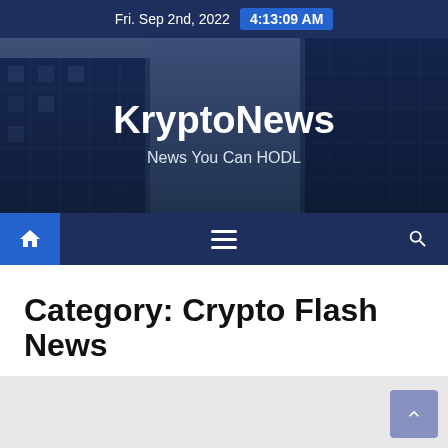Fri. Sep 2nd, 2022  4:13:09 AM
[Figure (screenshot): KryptoNews website banner with city building background. Site title: KryptoNews, tagline: News You Can HODL]
KryptoNews
News You Can HODL
Category: Crypto Flash News
Auto Added by WPeMatico